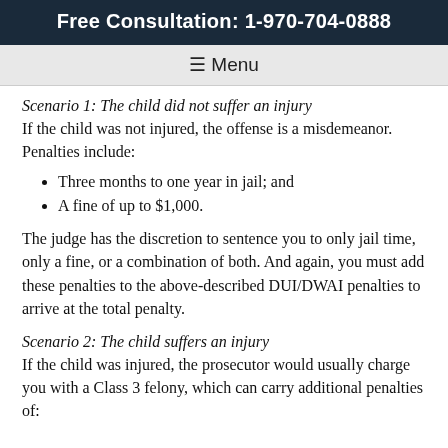Free Consultation: 1-970-704-0888
≡ Menu
Scenario 1: The child did not suffer an injury
If the child was not injured, the offense is a misdemeanor. Penalties include:
Three months to one year in jail; and
A fine of up to $1,000.
The judge has the discretion to sentence you to only jail time, only a fine, or a combination of both. And again, you must add these penalties to the above-described DUI/DWAI penalties to arrive at the total penalty.
Scenario 2: The child suffers an injury
If the child was injured, the prosecutor would usually charge you with a Class 3 felony, which can carry additional penalties of: